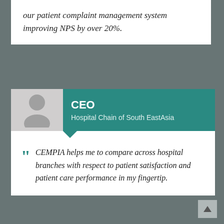our patient complaint management system improving NPS by over 20%.
[Figure (illustration): Blurred background photo of medical/healthcare setting with a person, teal-toned overlay]
CEO
Hospital Chain of South EastAsia
CEMPIA helps me to compare across hospital branches with respect to patient satisfaction and patient care performance in my fingertip.